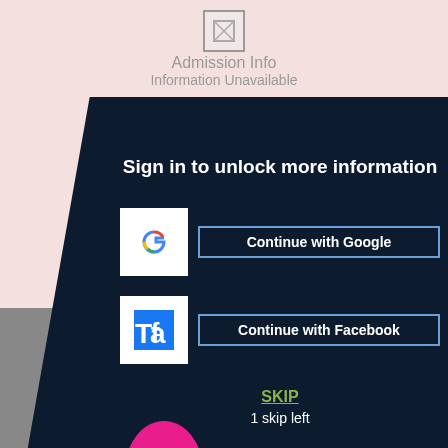[Figure (screenshot): Admission Info unavailable icon with broken image placeholder]
Admission Info
Information Unavailable
Sign in to unlock more information
[Figure (logo): Google G logo in white box]
Continue with Google
[Figure (logo): Facebook f logo in white box]
Continue with Facebook
SKIP
1 skip left
Ta